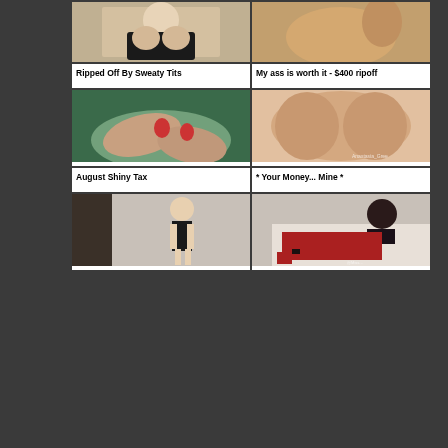[Figure (photo): Blonde woman in black lingerie holding chest]
[Figure (photo): Close-up explicit adult content]
Ripped Off By Sweaty Tits
My ass is worth it - $400 ripoff
[Figure (photo): Close-up of feet with red nails on green surface]
[Figure (photo): Explicit adult content - buttocks with watermark Anastasia_Gree]
August Shiny Tax
* Your Money... Mine *
[Figure (photo): Blonde woman in black bikini posing in room]
[Figure (photo): Woman in red leggings and black top on couch with watermark]